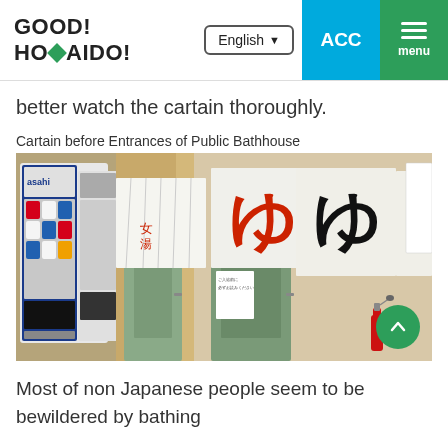GOOD! HOKKAIDO! — English — ACC — menu
better watch the cartain thoroughly.
Cartain before Entrances of Public Bathhouse
[Figure (photo): Photo of a public bathhouse entrance showing white noren (fabric dividers) with Japanese kanji 'yu' (ゆ) in red and black, with the women's and men's bath entrances visible, vending machines on the left, and a fire extinguisher on the right.]
Most of non Japanese people seem to be bewildered by bathing